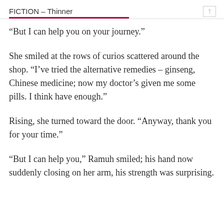FICTION – Thinner
“But I can help you on your journey.”
She smiled at the rows of curios scattered around the shop. “I’ve tried the alternative remedies – ginseng, Chinese medicine; now my doctor’s given me some pills. I think have enough.”
Rising, she turned toward the door. “Anyway, thank you for your time.”
“But I can help you,” Ramuh smiled; his hand now suddenly closing on her arm, his strength was surprising.